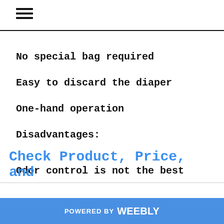≡
No special bag required
Easy to discard the diaper
One-hand operation
Disadvantages:
Odor control is not the best
Check Product, Price, and
POWERED BY weebly